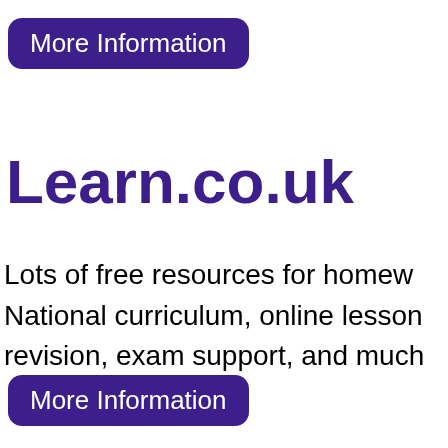[Figure (other): Purple rounded rectangle button with white text 'More Information']
Learn.co.uk
Lots of free resources for homew National curriculum, online lesson revision, exam support, and much
[Figure (other): Purple rounded rectangle button with white text 'More Information']